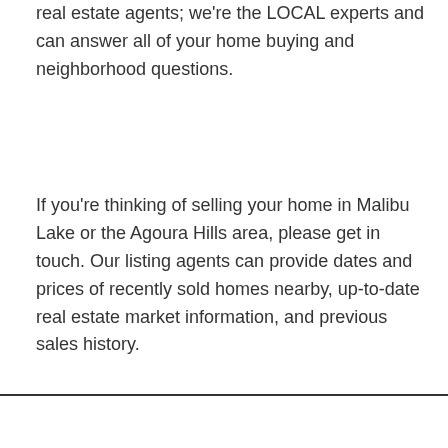real estate agents; we're the LOCAL experts and can answer all of your home buying and neighborhood questions.
If you're thinking of selling your home in Malibu Lake or the Agoura Hills area, please get in touch. Our listing agents can provide dates and prices of recently sold homes nearby, up-to-date real estate market information, and previous sales history.